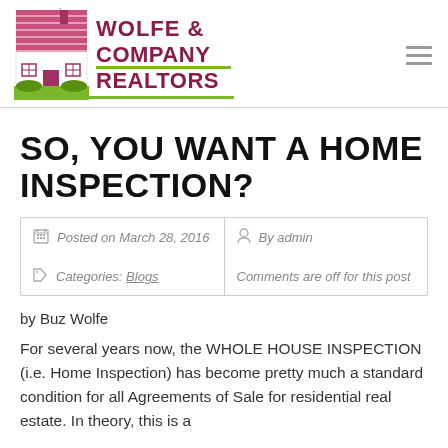[Figure (logo): Wolfe & Company Realtors logo with house illustration and green/maroon text]
SO, YOU WANT A HOME INSPECTION?
Posted on March 28, 2016 | By admin | Categories: Blogs | Comments are off for this post
by Buz Wolfe
For several years now, the WHOLE HOUSE INSPECTION (i.e. Home Inspection) has become pretty much a standard condition for all Agreements of Sale for residential real estate. In theory, this is a